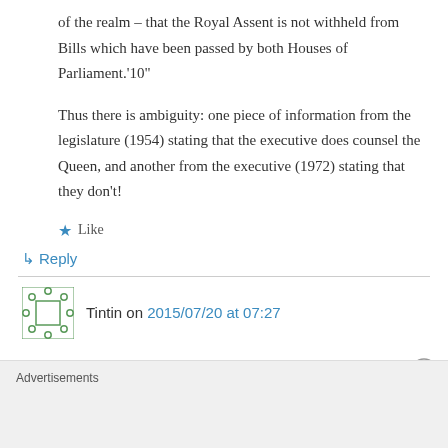of the realm – that the Royal Assent is not withheld from Bills which have been passed by both Houses of Parliament.'10"
Thus there is ambiguity: one piece of information from the legislature (1954) stating that the executive does counsel the Queen, and another from the executive (1972) stating that they don't!
★ Like
↳ Reply
Tintin on 2015/07/20 at 07:27
Advertisements